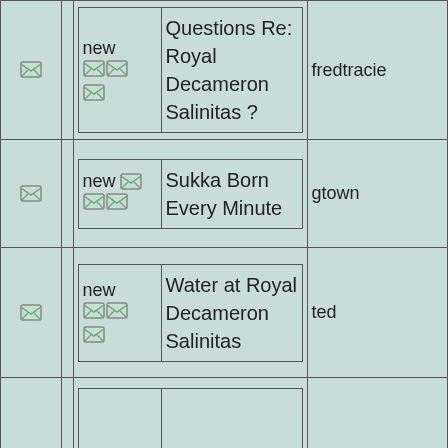| icon |  | nested(new/topic) | username |
| --- | --- | --- | --- |
| [icon] |  | new [icons] [icon] | Questions Re: Royal Decameron Salinitas ? | fredtracie |
| [icon] |  | new[icon] [icons] | Sukka Born Every Minute | gtown |
| [icon] |  | new [icons] [icon] | Water at Royal Decameron Salinitas | ted |
| [icon] |  |  |  |